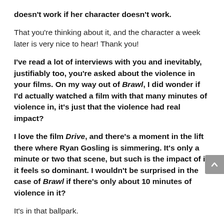doesn't work if her character doesn't work.
That you're thinking about it, and the character a week later is very nice to hear! Thank you!
I've read a lot of interviews with you and inevitably, justifiably too, you're asked about the violence in your films. On my way out of Brawl, I did wonder if I'd actually watched a film with that many minutes of violence in, it's just that the violence had real impact?
I love the film Drive, and there's a moment in the lift there where Ryan Gosling is simmering. It's only a minute or two that scene, but such is the impact of it, it feels so dominant. I wouldn't be surprised in the case of Brawl if there's only about 10 minutes of violence in it?
It's in that ballpark.